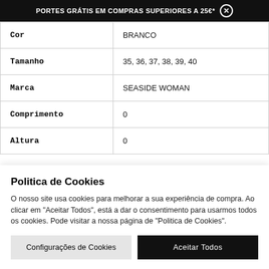PORTES GRÁTIS EM COMPRAS SUPERIORES A 25€* ✕
| Cor | BRANCO |
| Tamanho | 35, 36, 37, 38, 39, 40 |
| Marca | SEASIDE WOMAN |
| Comprimento | 0 |
| Altura | 0 |
Politica de Cookies
O nosso site usa cookies para melhorar a sua experiência de compra. Ao clicar em "Aceitar Todos", está a dar o consentimento para usarmos todos os cookies. Pode visitar a nossa página de "Politica de Cookies".
Configurações de Cookies | Aceitar Todos